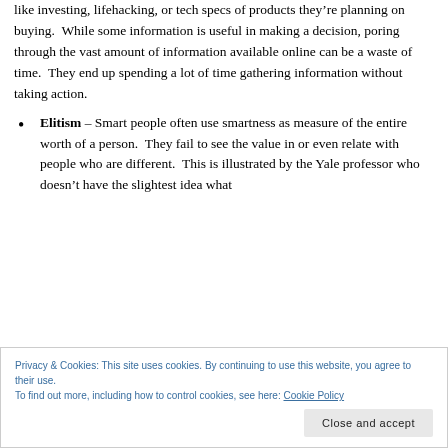like investing, lifehacking, or tech specs of products they're planning on buying.  While some information is useful in making a decision, poring through the vast amount of information available online can be a waste of time.  They end up spending a lot of time gathering information without taking action.
Elitism – Smart people often use smartness as measure of the entire worth of a person.  They fail to see the value in or even relate with people who are different.  This is illustrated by the Yale professor who doesn't have the slightest idea what
Privacy & Cookies: This site uses cookies. By continuing to use this website, you agree to their use.
To find out more, including how to control cookies, see here: Cookie Policy